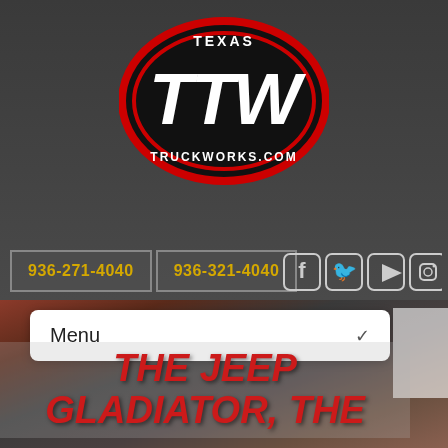[Figure (logo): Texas TTW Truckworks.com oval logo — black oval with red border, large white italic TTW lettering, 'TEXAS' above and 'TRUCKWORKS.COM' below in white text]
936-271-4040   936-321-4040
[Figure (illustration): Social media icons: Facebook, Twitter, YouTube, Instagram — white outline icons on dark background]
Menu
[Figure (photo): Background photo showing modified Jeep/truck vehicles parked in front of a Texas Truckworks branded banner/tent at an event]
THE JEEP GLADIATOR, THE